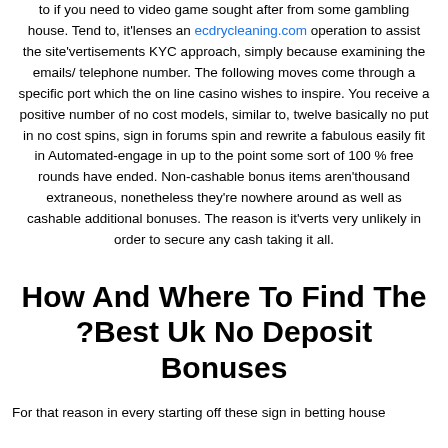to if you need to video game sought after from some gambling house. Tend to, it'lenses an ecdrycleaning.com operation to assist the site'vertisements KYC approach, simply because examining the emails/ telephone number. The following moves come through a specific port which the on line casino wishes to inspire. You receive a positive number of no cost models, similar to, twelve basically no put in no cost spins, sign in forums spin and rewrite a fabulous easily fit in Automated-engage in up to the point some sort of 100 % free rounds have ended. Non-cashable bonus items aren'thousand extraneous, nonetheless they're nowhere around as well as cashable additional bonuses. The reason is it'verts very unlikely in order to secure any cash taking it all.
How And Where To Find The ?Best Uk No Deposit Bonuses
For that reason in every starting off these sign in betting house